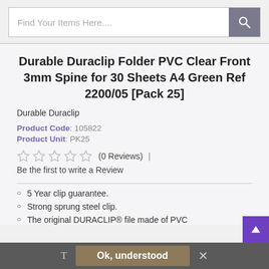Find Your Items Here....
Durable Duraclip Folder PVC Clear Front 3mm Spine for 30 Sheets A4 Green Ref 2200/05 [Pack 25]
Durable Duraclip
Product Code: 105822
Product Unit: PK25
(0 Reviews) | Be the first to write a Review
5 Year clip guarantee.
Strong sprung steel clip.
The original DURACLIP® file made of PVC
T  Ok, understood  ✕